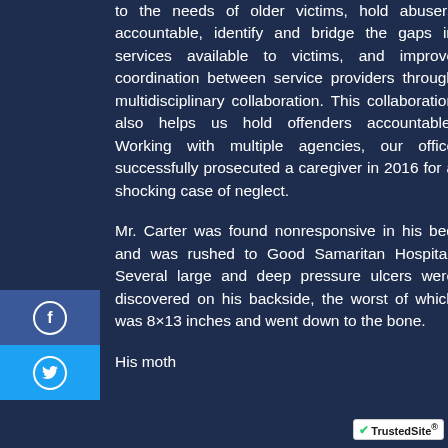to the needs of older victims, hold abusers accountable, identify and bridge the gaps in services available to victims, and improve coordination between service providers through multidisciplinary collaboration. This collaboration also helps us hold offenders accountable. Working with multiple agencies, our office successfully prosecuted a caregiver in 2016 for a shocking case of neglect.
Mr. Carter was found nonresponsive in his bed and was rushed to Good Samaritan Hospital. Several large and deep pressure ulcers were discovered on his backside, the worst of which was 8×13 inches and went down to the bone.
His mother to present and the...